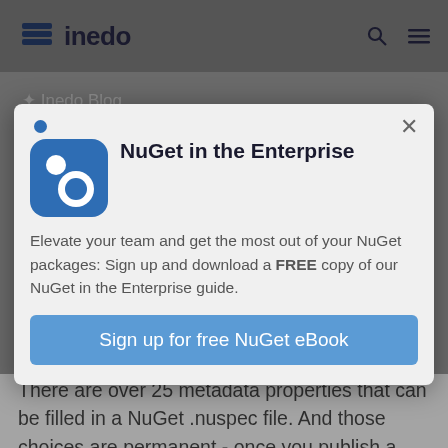inedo
[Figure (screenshot): Modal popup overlay on the Inedo Blog page. The modal features the NuGet icon (blue rounded square with two white circles), the title 'NuGet in the Enterprise', body text about signing up for a free NuGet eBook, and a blue 'Sign up for free NuGet eBook' button. Behind the modal is a dimmed blog page with an article title partially visible.]
NuGet in the Enterprise
Elevate your team and get the most out of your NuGet packages: Sign up and download a FREE copy of our NuGet in the Enterprise guide.
Sign up for free NuGet eBook
There are over 25 metadata properties that can be filled in a NuGet .nuspec file. And those choices are permanent - once you publish a package, you can't edit — change them.